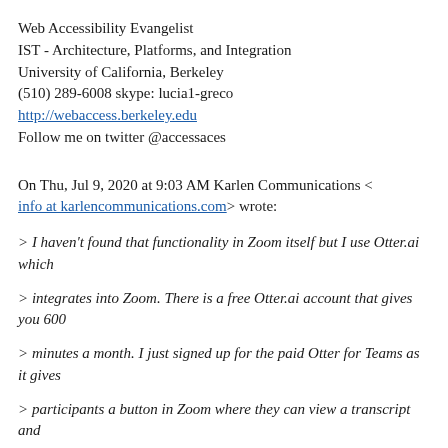Web Accessibility Evangelist
IST - Architecture, Platforms, and Integration
University of California, Berkeley
(510) 289-6008 skype: lucia1-greco
http://webaccess.berkeley.edu
Follow me on twitter @accessaces
On Thu, Jul 9, 2020 at 9:03 AM Karlen Communications < info at karlencommunications.com> wrote:
> I haven't found that functionality in Zoom itself but I use Otter.ai which
> integrates into Zoom. There is a free Otter.ai account that gives you 600
> minutes a month. I just signed up for the paid Otter for Teams as it gives
> participants a button in Zoom where they can view a transcript and